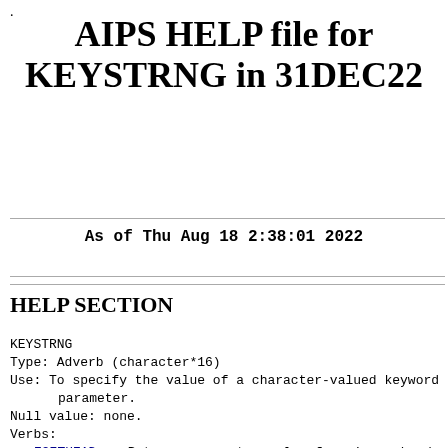AIPS HELP file for KEYSTRNG in 31DEC22
As of Thu Aug 18 2:38:01 2022
HELP SECTION
KEYSTRNG
Type:  Adverb    (character*16)
Use:   To specify the value of a character-valued keyword
       parameter.
Null value:   none.
Verbs:
    EGETHEAD....Returns parameter value from image header
    GETHEAD.....Gets a parameter value from the header fie
                the FITS keyword in adverb KEYWORD.
    GETTHEAD....Returns keyword values from a table header
                #, # rows  On input, can be column label t
                on output is any string-valued KEYWORD val
    PUTHEAD.....Puts a new value in the header field d